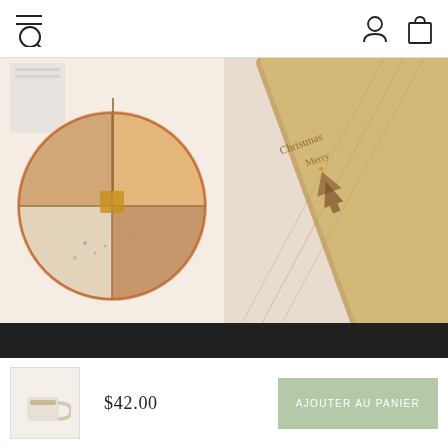Navigation header with menu/search icon and user/cart icons
[Figure (photo): Round amber/peach resin incense holder dish with geometric sections, photographed from above on white background]
[Figure (photo): Wooden engraved rolling pin with Christmas tree motif text, partially visible on right side]
Il s'agit d'un avis de cookie standard que vous pouvez facilement adapter ou désactiver à votre guise dans l'administrateur. Nous utilisons des cookies pour vous garantir la meilleure expérience sur notre site Web.
POLITIQUE DE CONFIDENTIALITÉ
J'ACCEPTE ✓
[Figure (photo): Small cream/beige ceramic mug with handle, shown in bottom left cart area]
$42.00
AJOUTER AU PANIER